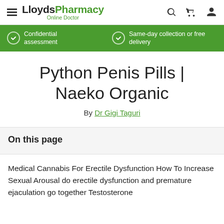LloydsPharmacy Online Doctor
Python Penis Pills | Naeko Organic
By Dr Gigi Taguri
On this page
Medical Cannabis For Erectile Dysfunction How To Increase Sexual Arousal do erectile dysfunction and premature ejaculation go together Testosterone